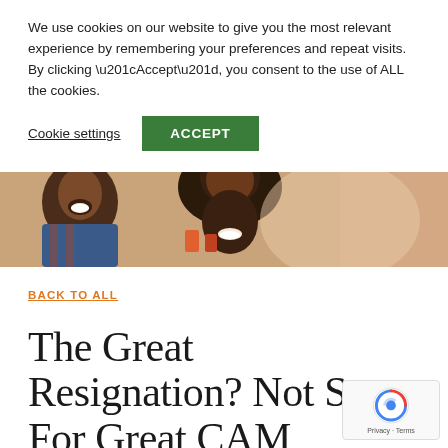We use cookies on our website to give you the most relevant experience by remembering your preferences and repeat visits. By clicking “Accept”, you consent to the use of ALL the cookies.
Cookie settings  ACCEPT
[Figure (photo): A smiling man and woman laughing together, banner/hero image for a website article.]
BACK TO ALL
The Great Resignation? Not So For Great CAM